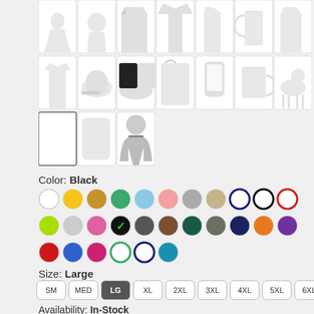[Figure (screenshot): Grid of product type thumbnail images — apparel, hats, bags, phone case, mug, dog toy, pillow, mannequin silhouette. Third item in row 3 is selected (blank canvas/pillow with border).]
Color: Black
[Figure (infographic): Color swatch selector showing 29 colored circles. Row 1: white, yellow, golden-yellow, green, light blue, pink, gray, tan/beige, navy outline, black outline, red outline. Row 2: lime green, light gray, hot pink, black checkmark (selected), dark gray, brown, dark teal, army green, navy, orange, purple. Row 3: red, blue, magenta, green outline, navy outline, teal.]
Size: Large
[Figure (infographic): Size selector buttons: SM, MED, LG (selected/dark), XL, 2XL, 3XL, 4XL, 5XL, 6XL]
Availability: In-Stock